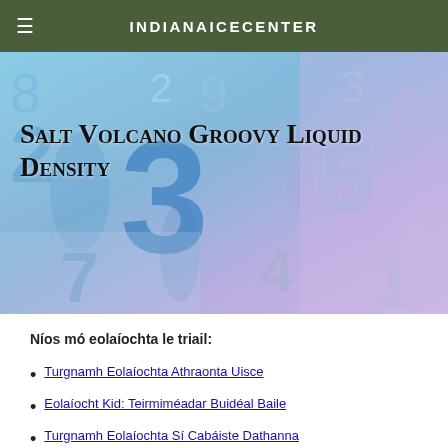INDIANAICECENTER
[Figure (photo): Abstract colorful background with blue and purple numbers and shapes, with the title 'Salt Volcano Groovy Liquid Density' overlaid in bold serif font]
Níos mó eolaíochta le triail:
Turgnamh Eolaíochta Athraonta Uisce
Eolaíocht Kid: Teirmiméadar Buidéal Baile
Turgnamh Eolaíochta Sí Cabáiste Dathanna